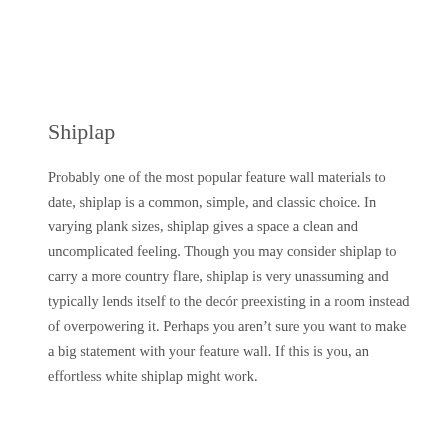Shiplap
Probably one of the most popular feature wall materials to date, shiplap is a common, simple, and classic choice. In varying plank sizes, shiplap gives a space a clean and uncomplicated feeling. Though you may consider shiplap to carry a more country flare, shiplap is very unassuming and typically lends itself to the decór preexisting in a room instead of overpowering it. Perhaps you aren't sure you want to make a big statement with your feature wall. If this is you, an effortless white shiplap might work.